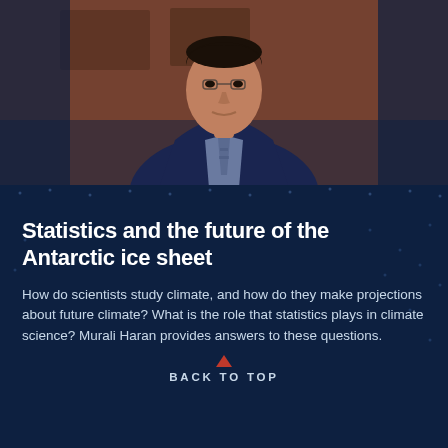[Figure (photo): Professional headshot of Murali Haran, a man in a dark navy suit with a patterned tie, standing in front of a brick building background]
Statistics and the future of the Antarctic ice sheet
How do scientists study climate, and how do they make projections about future climate? What is the role that statistics plays in climate science? Murali Haran provides answers to these questions.
BACK TO TOP